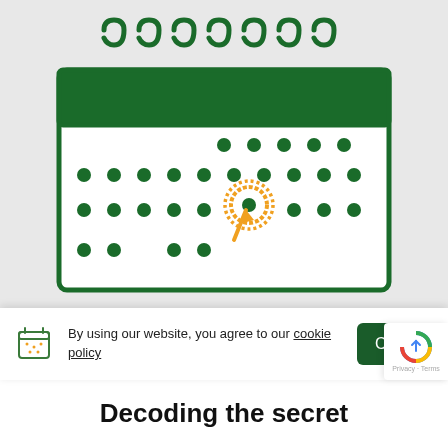[Figure (illustration): Hand-drawn style calendar with dark green outline. The calendar has spiral binding at the top with multiple rings. The calendar body shows a grid of dark green dots representing days. One date in the middle area is circled with an orange/yellow circle with an arrow pointing to it, highlighting a specific date.]
By using our website, you agree to our cookie policy
Decoding the secret